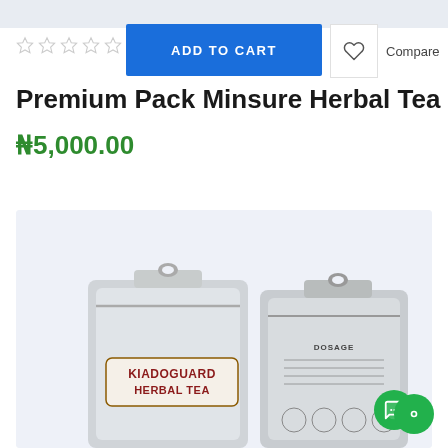[Figure (screenshot): Top gray image bar placeholder]
[Figure (other): Five empty star rating icons]
ADD TO CART
[Figure (other): Heart/wishlist button]
Compare
Premium Pack Minsure Herbal Tea
₦5,000.00
[Figure (photo): Two KIADOGUARD HERBAL TEA product bags on a light blue background — front and back views]